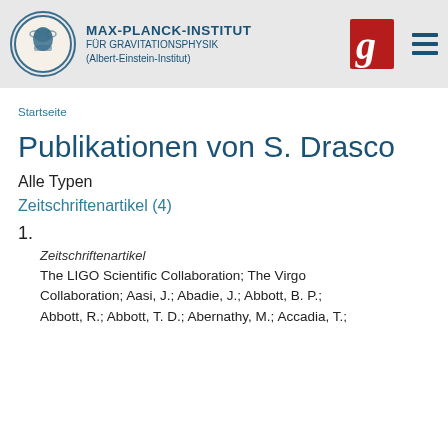[Figure (logo): Max-Planck-Institut für Gravitationsphysik (Albert-Einstein-Institut) header with institute logo, red G logo, and hamburger menu]
Startseite
Publikationen von S. Drasco
Alle Typen
Zeitschriftenartikel (4)
1.
Zeitschriftenartikel
The LIGO Scientific Collaboration; The Virgo Collaboration; Aasi, J.; Abadie, J.; Abbott, B. P.; Abbott, R.; Abbott, T. D.; Abernathy, M.; Accadia, T.;